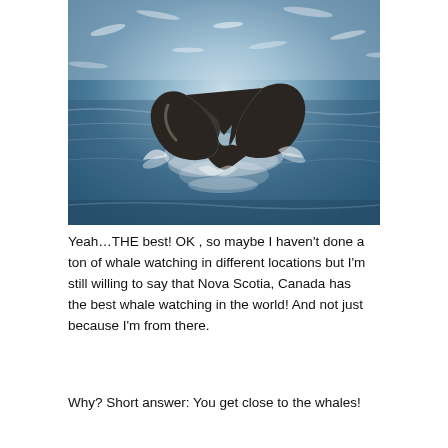[Figure (photo): A whale tail (fluke) rising out of choppy, sun-glittered ocean water, photographed from above or nearby boat level.]
Yeah…THE best! OK , so maybe I haven't done a ton of whale watching in different locations but I'm still willing to say that Nova Scotia, Canada has the best whale watching in the world! And not just because I'm from there.
Why? Short answer: You get close to the whales!